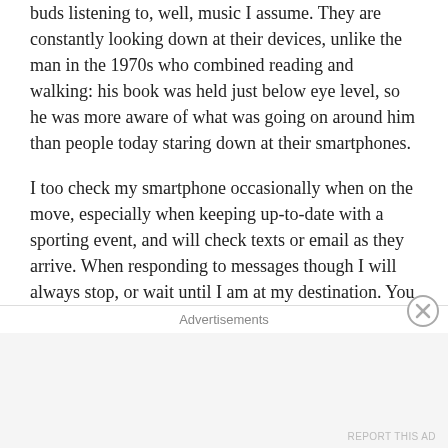buds listening to, well, music I assume. They are constantly looking down at their devices, unlike the man in the 1970s who combined reading and walking: his book was held just below eye level, so he was more aware of what was going on around him than people today staring down at their smartphones.
I too check my smartphone occasionally when on the move, especially when keeping up-to-date with a sporting event, and will check texts or email as they arrive. When responding to messages though I will always stop, or wait until I am at my destination. You will never see me trying to walk and type a message at the same time, either in the way appropriate to people of my age (typing one-handed, with a single finger or thumb) or
Advertisements